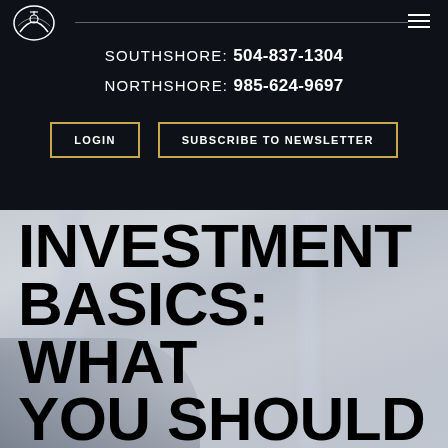SOUTHSHORE: 504-837-1304
NORTHSHORE: 985-624-9697
LOGIN
SUBSCRIBE TO NEWSLETTER
[Figure (photo): Blurred black and white office/meeting room background with a person in foreground]
INVESTMENT BASICS: WHAT YOU SHOULD